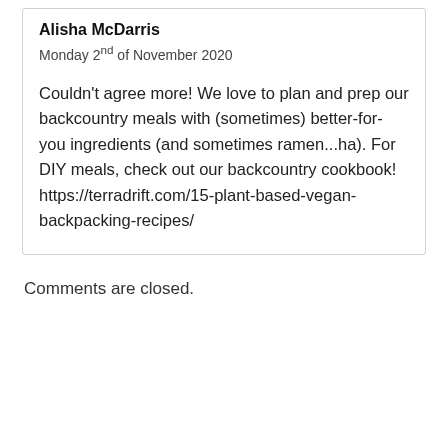Alisha McDarris
Monday 2nd of November 2020
Couldn't agree more! We love to plan and prep our backcountry meals with (sometimes) better-for-you ingredients (and sometimes ramen...ha). For DIY meals, check out our backcountry cookbook! https://terradrift.com/15-plant-based-vegan-backpacking-recipes/
Comments are closed.